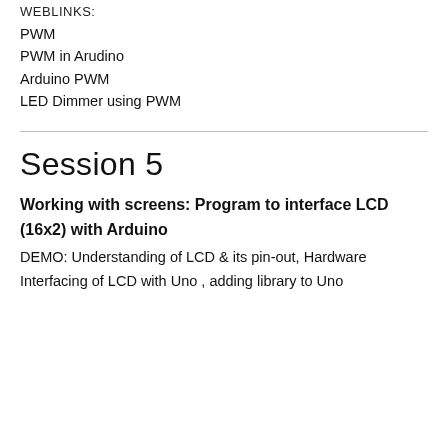WEBLINKS:
PWM
PWM in Arudino
Arduino PWM
LED Dimmer using PWM
Session 5
Working with screens: Program to interface LCD (16x2) with Arduino
DEMO: Understanding of LCD & its pin-out, Hardware Interfacing of LCD with Uno , adding library to Uno